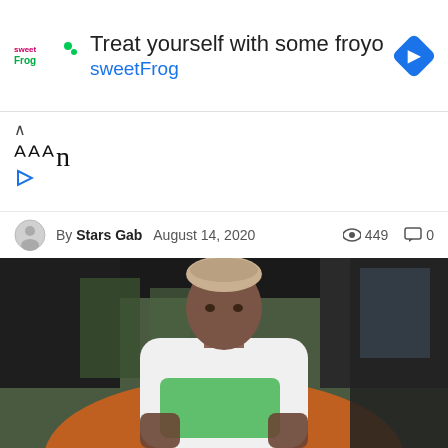[Figure (other): sweetFrog frozen yogurt advertisement banner with logo, text 'Treat yourself with some froyo sweetFrog', and a blue diamond-shaped navigation icon]
↑ᴬᴬᴬn
By Stars Gab  August 14, 2020    👁 449   💬 0
[Figure (photo): A young Black man with short blonde-tipped hair wearing a white t-shirt with green graphic print, sitting inside a luxury vehicle with orange leather interior, photographed from outside the open vehicle door, trees visible in background]